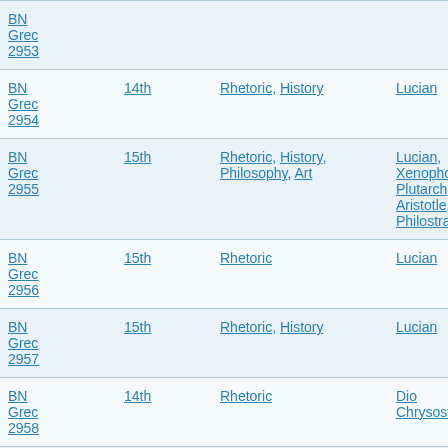| Manuscript | Century | Subject | Author |
| --- | --- | --- | --- |
| BN Grec 2953 |  |  |  |
| BN Grec 2954 | 14th | Rhetoric, History | Lucian |
| BN Grec 2955 | 15th | Rhetoric, History, Philosophy, Art | Lucian, Xenophon, Plutarch, Aristotle, Philostratus |
| BN Grec 2956 | 15th | Rhetoric | Lucian |
| BN Grec 2957 | 15th | Rhetoric, History | Lucian |
| BN Grec 2958 | 14th | Rhetoric | Dio Chrysostomus |
| BN Grec 2959 | 15th | Rhetoric | Dio Chrysostomus |
| BN Grec ... |  |  | Dio Chrysostomus, |